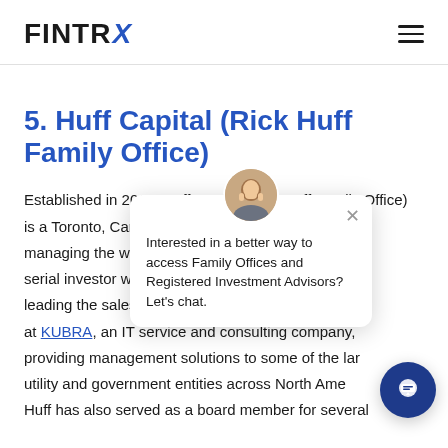FINTRX
5. Huff Capital (Rick Huff Family Office)
Established in 2018, Huff Capital (Rick Huff Family Office) is a Toronto, Canada-based [firm] managing the wealth of [Rick Huff, a] serial investor who spen[t years] leading the sales, marke[ting efforts] at KUBRA, an IT service and consulting company, providing management solutions to some of the lar[gest] utility and government entities across North Ame[rica.] Huff has also served as a board member for several
Interested in a better way to access Family Offices and Registered Investment Advisors? Let's chat.